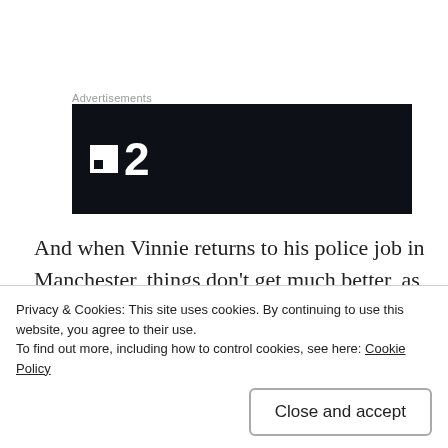Advertisements
[Figure (logo): Dark navy/black banner with white square logo and number 2, resembling a TV channel 2 logo]
And when Vinnie returns to his police job in Manchester, things don't get much better, as he finds himself at the heart of an investigation that stretches from Manchester to all corners of Europe. Women are being trafficked into the UK and forced into prostitution, and while the police
Privacy & Cookies: This site uses cookies. By continuing to use this website, you agree to their use.
To find out more, including how to control cookies, see here: Cookie Policy
Close and accept